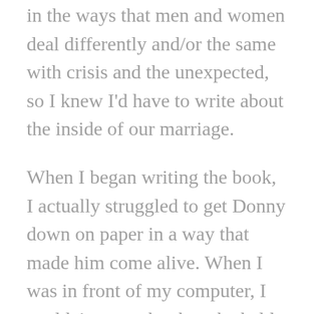in the ways that men and women deal differently and/or the same with crisis and the unexpected, so I knew I'd have to write about the inside of our marriage.
When I began writing the book, I actually struggled to get Donny down on paper in a way that made him come alive. When I was in front of my computer, I couldn't remember how he held his head, what his mouth did when he was nervous, and so on. I had taken all